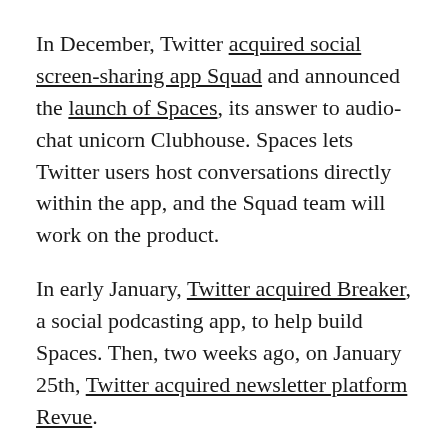In December, Twitter acquired social screen-sharing app Squad and announced the launch of Spaces, its answer to audio-chat unicorn Clubhouse. Spaces lets Twitter users host conversations directly within the app, and the Squad team will work on the product.
In early January, Twitter acquired Breaker, a social podcasting app, to help build Spaces. Then, two weeks ago, on January 25th, Twitter acquired newsletter platform Revue.
Combined, these moves point to a more confident Twitter, that, election behind it and Trump out of its hair, is focused on the future. It is going to build Creator-focused products and diversify its revenue streams. The pieces are starting to come together.